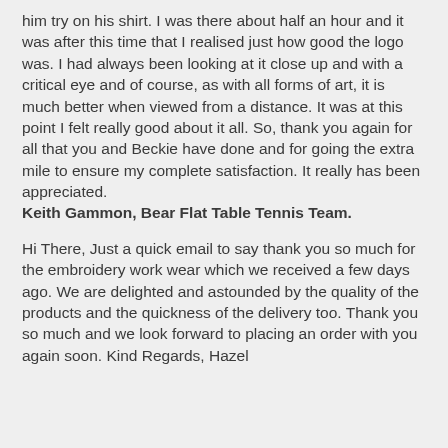him try on his shirt. I was there about half an hour and it was after this time that I realised just how good the logo was. I had always been looking at it close up and with a critical eye and of course, as with all forms of art, it is much better when viewed from a distance. It was at this point I felt really good about it all. So, thank you again for all that you and Beckie have done and for going the extra mile to ensure my complete satisfaction. It really has been appreciated.
Keith Gammon, Bear Flat Table Tennis Team.
Hi There, Just a quick email to say thank you so much for the embroidery work wear which we received a few days ago. We are delighted and astounded by the quality of the products and the quickness of the delivery too. Thank you so much and we look forward to placing an order with you again soon. Kind Regards, Hazel